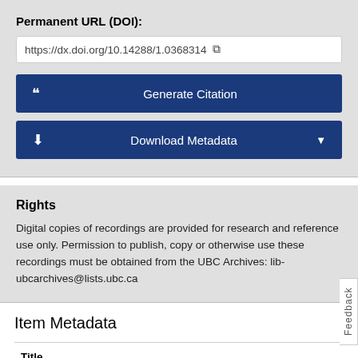Permanent URL (DOI):
https://dx.doi.org/10.14288/1.0368314
Generate Citation
Download Metadata
Rights
Digital copies of recordings are provided for research and reference use only. Permission to publish, copy or otherwise use these recordings must be obtained from the UBC Archives: lib-ubcarchives@lists.ubc.ca
Item Metadata
| Title |
| --- |